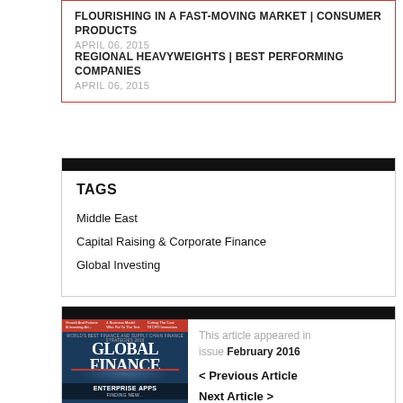FLOURISHING IN A FAST-MOVING MARKET | CONSUMER PRODUCTS
APRIL 06, 2015
REGIONAL HEAVYWEIGHTS | BEST PERFORMING COMPANIES
APRIL 06, 2015
TAGS
Middle East
Capital Raising & Corporate Finance
Global Investing
[Figure (photo): Global Finance magazine cover for February 2016 issue showing Enterprise Apps theme with hand and digital imagery]
This article appeared in issue February 2016
< Previous Article
Next Article >